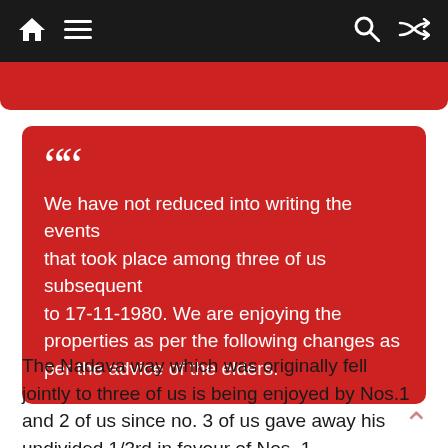Navigation bar with home, menu, search, and shuffle icons
We have not reduced into writing the events that took place among three of us subsequent to 17-11-1980. We are enjoying the properties as per the following changes as per the advice of the elders.
The Nadava way which was originally fell jointly to three of us is being enjoyed by Nos.1 and 2 of us since no. 3 of us gave away his undivided 1/3rd in favour of Nos. 1